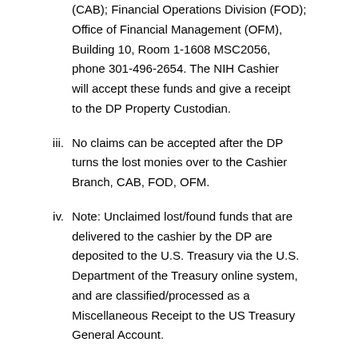(CAB); Financial Operations Division (FOD); Office of Financial Management (OFM), Building 10, Room 1-1608 MSC2056, phone 301-496-2654. The NIH Cashier will accept these funds and give a receipt to the DP Property Custodian.
iii. No claims can be accepted after the DP turns the lost monies over to the Cashier Branch, CAB, FOD, OFM.
iv. Note: Unclaimed lost/found funds that are delivered to the cashier by the DP are deposited to the U.S. Treasury via the U.S. Department of the Treasury online system, and are classified/processed as a Miscellaneous Receipt to the US Treasury General Account.